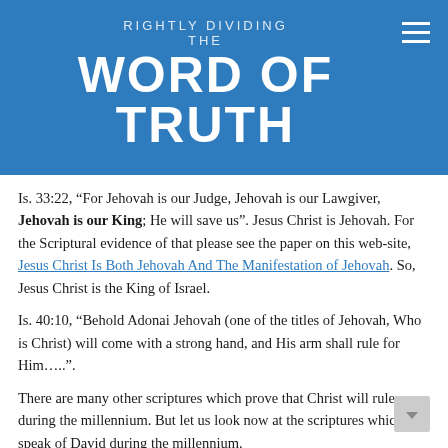RIGHTLY DIVIDING THE WORD OF TRUTH
Is. 33:22, “For Jehovah is our Judge, Jehovah is our Lawgiver, Jehovah is our King; He will save us”. Jesus Christ is Jehovah. For the Scriptural evidence of that please see the paper on this web-site, Jesus Christ Is Both Jehovah And The Manifestation of Jehovah. So, Jesus Christ is the King of Israel.
Is. 40:10, “Behold Adonai Jehovah (one of the titles of Jehovah, Who is Christ) will come with a strong hand, and His arm shall rule for Him…..”.
There are many other scriptures which prove that Christ will rule during the millennium. But let us look now at the scriptures which speak of David during the millennium.
Jer. 30:9, “But they shall serve Jehovah their Elohim, and David their